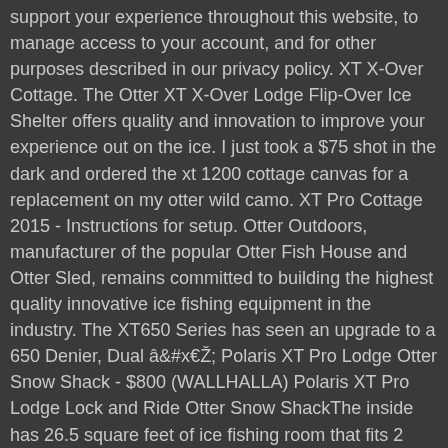support your experience throughout this website, to manage access to your account, and for other purposes described in our privacy policy. XT X-Over Cottage. The Otter XT X-Over Lodge Flip-Over Ice Shelter offers quality and innovation to improve your experience out on the ice. I just took a $75 shot in the dark and ordered the xt 1200 cottage canvas for a replacement on my otter wild camo. XT Pro Cottage 2015 - Instructions for setup. Otter Outdoors, manufacturer of the popular Otter Fish House and Otter Sled, remains committed to building the highest quality innovative ice fishing equipment in the industry. The XT650 Series has seen an upgrade to a 650 Denier, Dual â Polaris XT Pro Lodge Otter Snow Shack - $800 (WALLHALLA) Polaris XT Pro Lodge Lock and Ride Otter Snow ShackThe inside has 26.5 square feet of ice fishing room that fits 2 people comfortably.It has a 1,200 denier layering system to block wind and light. The X-OVER SHELTER SERIES are rich with cutting edge design and engineering features that will enhance any ice fishing experience. Part #200086. You must be logged in to join the discussion. Although much smaller than my pop-up shelter inside this thing is perfectly comfortable to be used primarily as a 1 person but is do-able for 2. I've ordered a second seat, but will only be fishing one line each inside of this but extra